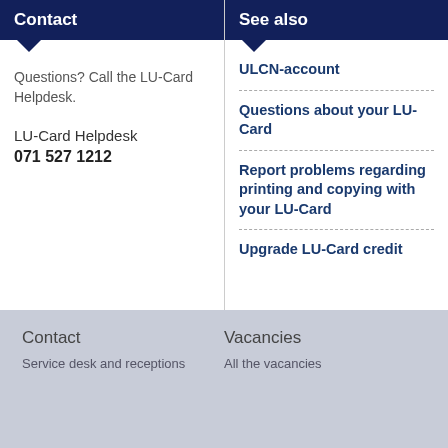Contact
Questions? Call the LU-Card Helpdesk.
LU-Card Helpdesk
071 527 1212
See also
ULCN-account
Questions about your LU-Card
Report problems regarding printing and copying with your LU-Card
Upgrade LU-Card credit
Contact
Service desk and receptions
Vacancies
All the vacancies
This website uses cookies. More information.
Accept cookies
✕ Reject cookies